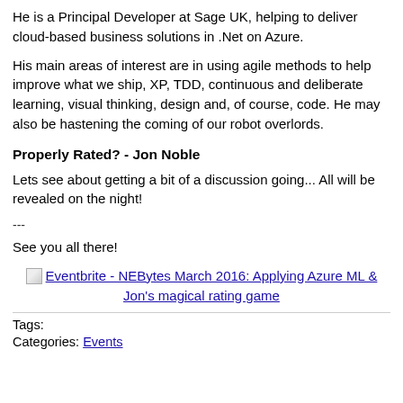He is a Principal Developer at Sage UK, helping to deliver cloud-based business solutions in .Net on Azure.
His main areas of interest are in using agile methods to help improve what we ship, XP, TDD, continuous and deliberate learning, visual thinking, design and, of course, code. He may also be hastening the coming of our robot overlords.
Properly Rated? - Jon Noble
Lets see about getting a bit of a discussion going... All will be revealed on the night!
---
See you all there!
Eventbrite - NEBytes March 2016: Applying Azure ML & Jon's magical rating game
Tags:
Categories: Events